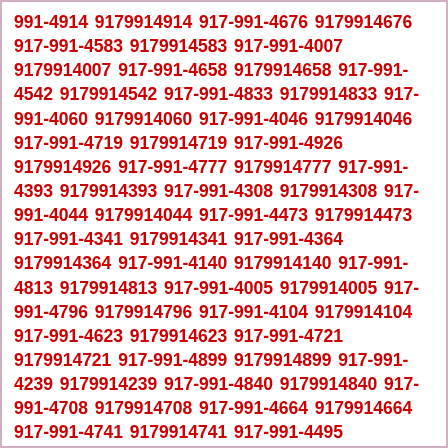991-4914 9179914914 917-991-4676 9179914676 917-991-4583 9179914583 917-991-4007 9179914007 917-991-4658 9179914658 917-991-4542 9179914542 917-991-4833 9179914833 917-991-4060 9179914060 917-991-4046 9179914046 917-991-4719 9179914719 917-991-4926 9179914926 917-991-4777 9179914777 917-991-4393 9179914393 917-991-4308 9179914308 917-991-4044 9179914044 917-991-4473 9179914473 917-991-4341 9179914341 917-991-4364 9179914364 917-991-4140 9179914140 917-991-4813 9179914813 917-991-4005 9179914005 917-991-4796 9179914796 917-991-4104 9179914104 917-991-4623 9179914623 917-991-4721 9179914721 917-991-4899 9179914899 917-991-4239 9179914239 917-991-4840 9179914840 917-991-4708 9179914708 917-991-4664 9179914664 917-991-4741 9179914741 917-991-4495 9179914495 917-991-4185 9179914185 917-991-4730 9179914730 917-991-4373